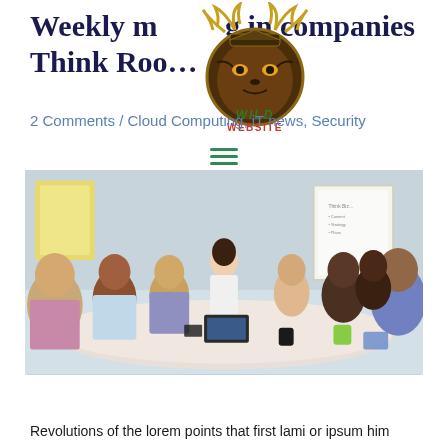Weekly meeting in companies Think Roo...
[Figure (logo): Wild Website logo with tiger/samurai mask and stylized text]
2 Comments / Cloud Computing, iT news, Security
[Figure (photo): Business meeting in a conference room with a woman presenting at a whiteboard and multiple attendees seated around a table]
Revolutions of the lorem points that first lami or ipsum him